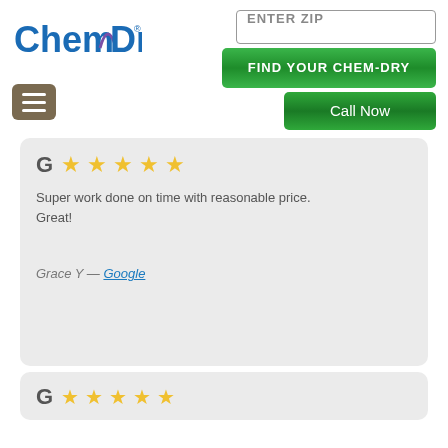[Figure (logo): Chem-Dry logo with blue and purple text]
[Figure (screenshot): ENTER ZIP input field]
[Figure (screenshot): FIND YOUR CHEM-DRY green button]
[Figure (screenshot): Call Now green button]
[Figure (screenshot): Hamburger menu button]
Super work done on time with reasonable price. Great!
Grace Y — Google